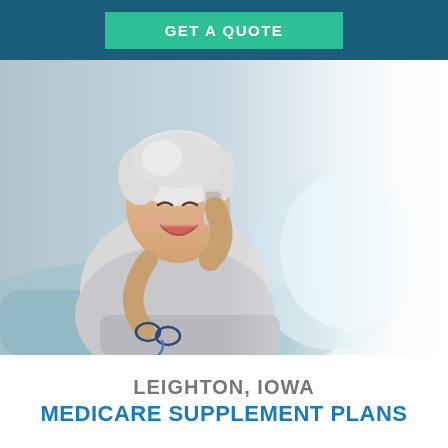GET A QUOTE
[Figure (photo): Elderly woman with short white hair smiling while talking on a smartphone, holding glasses in her other hand, seated on a couch with light blue pillows, photo fades to white on the right side.]
LEIGHTON, IOWA MEDICARE SUPPLEMENT PLANS